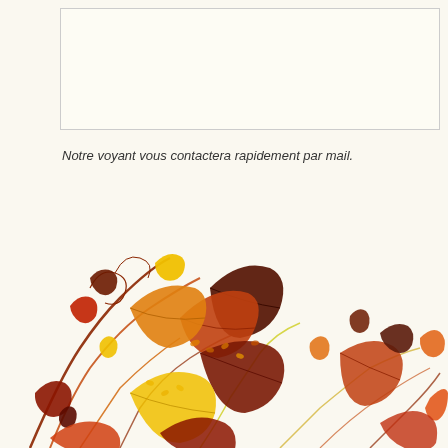Notre voyant vous contactera rapidement par mail.
Valider votre voyance gratuite
[Figure (illustration): Autumn floral illustration with orange, red, yellow and dark brown leaves, swirling vines and stems, decorative botanical design filling the bottom-left portion of the page on a cream background.]